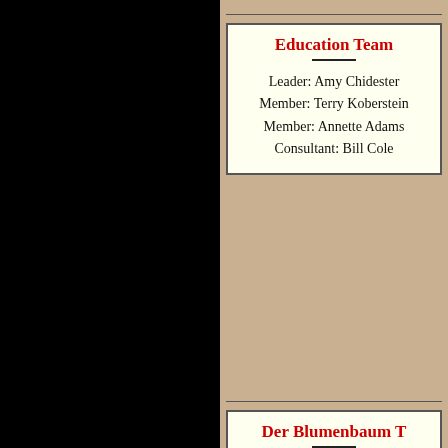Education Team
Leader: Amy Chidester
Member: Terry Koberstein
Member: Annette Adams
Consultant: Bill Cole
Der Blumenbaum T
Leader: Eleanor Hedenkamp
Team members:
  Charles Haussler
  Don Reh
  Ingeborg Carpenter
  Kathleen Cahill
  Lisa Gorrell